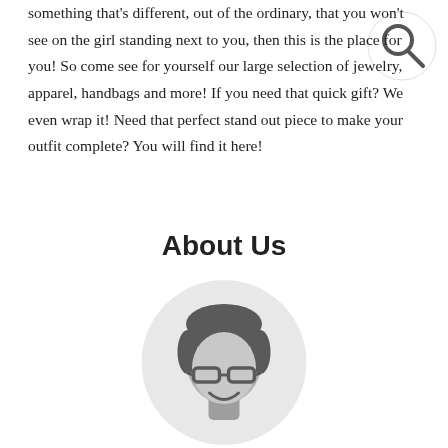something that's different, out of the ordinary, that you won't see on the girl standing next to you, then this is the place for you! So come see for yourself our large selection of jewelry, apparel, handbags and more! If you need that quick gift? We even wrap it! Need that perfect stand out piece to make your outfit complete? You will find it here!
[Figure (illustration): Search icon (magnifying glass) in top right corner]
About Us
[Figure (illustration): Circular avatar illustration of a person with glasses, dark hair, smiling, on a light gray background circle]
Karen Caruso